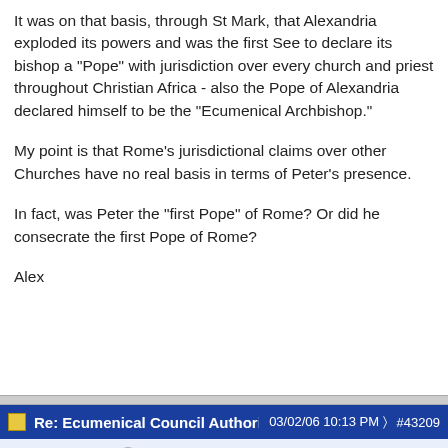It was on that basis, through St Mark, that Alexandria exploded its powers and was the first See to declare its bishop a "Pope" with jurisdiction over every church and priest throughout Christian Africa - also the Pope of Alexandria declared himself to be the "Ecumenical Archbishop."
My point is that Rome's jurisdictional claims over other Churches have no real basis in terms of Peter's presence.
In fact, was Peter the "first Pope" of Rome? Or did he consecrate the first Pope of Rome?
Alex
Re: Ecumenical Council Authority   03/02/06 10:13 PM   #43209
AMM  Member  Joined: Apr 2005  Posts: 3,411  USA
Quote